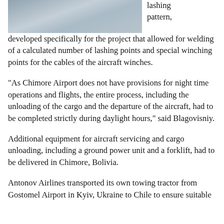[Figure (photo): Partial photograph of aircraft or cargo equipment on a tarmac area]
lashing pattern, developed specifically for the project that allowed for welding of a calculated number of lashing points and special winching points for the cables of the aircraft winches.
“As Chimore Airport does not have provisions for night time operations and flights, the entire process, including the unloading of the cargo and the departure of the aircraft, had to be completed strictly during daylight hours,” said Blagovisniy.
Additional equipment for aircraft servicing and cargo unloading, including a ground power unit and a forklift, had to be delivered in Chimore, Bolivia.
Antonov Airlines transported its own towing tractor from Gostomel Airport in Kyiv, Ukraine to Chile to ensure suitable